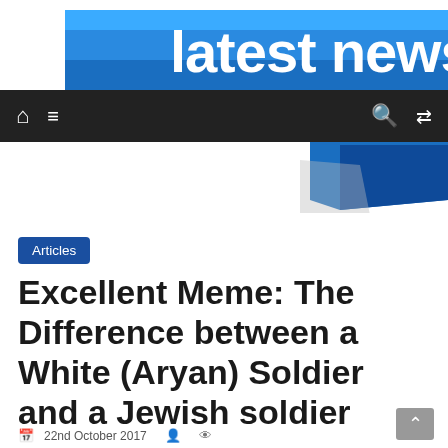[Figure (screenshot): Website header with 'latest news' logo on blue ribbon banner with speech bubble graphic]
Navigation bar with home, menu, search, and shuffle icons on dark background
Articles
Excellent Meme: The Difference between a White (Aryan) Soldier and a Jewish soldier
22nd October 2017